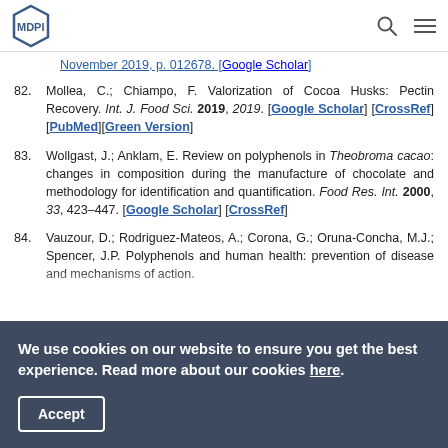MDPI [logo] [search icon] [menu icon]
November 2019, p. 012678. [Google Scholar]
82. Mollea, C.; Chiampo, F. Valorization of Cocoa Husks: Pectin Recovery. Int. J. Food Sci. 2019, 2019. [Google Scholar] [CrossRef] [PubMed][Green Version]
83. Wollgast, J.; Anklam, E. Review on polyphenols in Theobroma cacao: changes in composition during the manufacture of chocolate and methodology for identification and quantification. Food Res. Int. 2000, 33, 423–447. [Google Scholar] [CrossRef]
84. Vauzour, D.; Rodriguez-Mateos, A.; Corona, G.; Oruna-Concha, M.J.; Spencer, J.P. Polyphenols and human health: prevention of disease and mechanisms of action.
We use cookies on our website to ensure you get the best experience. Read more about our cookies here. Accept